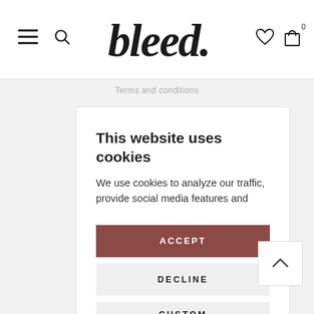bleed — navigation header with menu, search, wishlist, and cart icons
Terms and conditions
This website uses cookies
We use cookies to analyze our traffic, provide social media features and
ACCEPT
DECLINE
CUSTOM